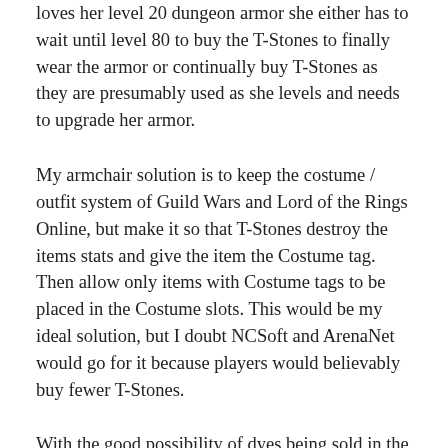loves her level 20 dungeon armor she either has to wait until level 80 to buy the T-Stones to finally wear the armor or continually buy T-Stones as they are presumably used as she levels and needs to upgrade her armor.
My armchair solution is to keep the costume / outfit system of Guild Wars and Lord of the Rings Online, but make it so that T-Stones destroy the items stats and give the item the Costume tag. Then allow only items with Costume tags to be placed in the Costume slots. This would be my ideal solution, but I doubt NCSoft and ArenaNet would go for it because players would believably buy fewer T-Stones.
With the good possibility of dyes being sold in the Guild Wars 2 cash shop and knowledge that Transmutation Stones will be for sale in the cash shop, I think it is pretty apparent that the Guild